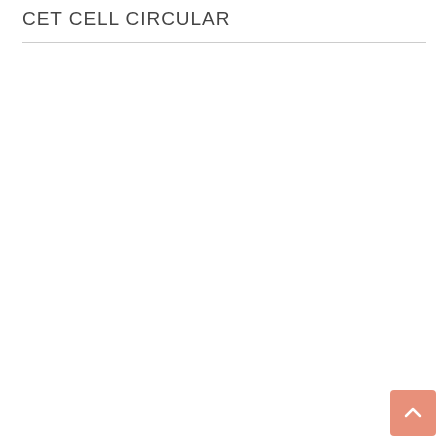CET CELL CIRCULAR
[Figure (other): Scroll-to-top button with upward chevron arrow, salmon/coral color background]